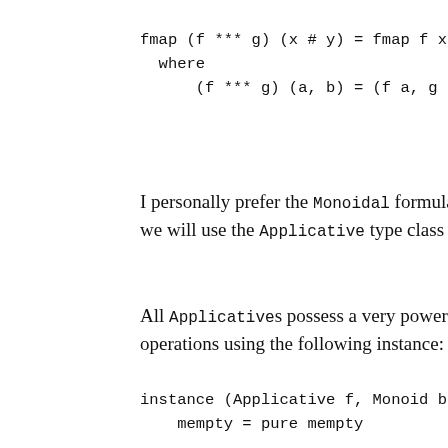I personally prefer the Monoidal formulation, but we will use the Applicative type class for this po...
All Applicatives possess a very powerful prope... operations using the following instance:
This says: "If f is an Applicative and b is a Mono... words, we can automatically extend any existing...